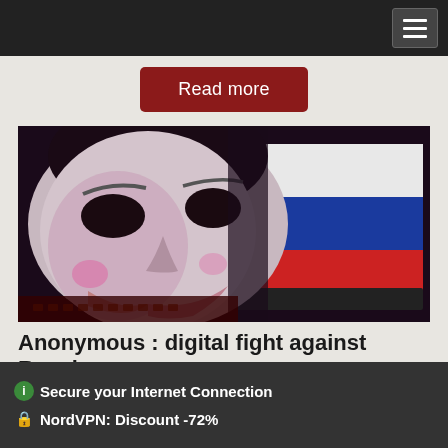Navigation bar with hamburger menu
[Figure (illustration): Read more button - red rounded rectangle button with white text]
[Figure (photo): Guy Fawkes/Anonymous mask next to a laptop displaying the Russian flag (white, blue, red stripes). Dark background with dramatic lighting.]
Anonymous : digital fight against Russia
Anonymous uses many strategies in its digital fight against Russia, the
Secure your Internet Connection
NordVPN: Discount -72%